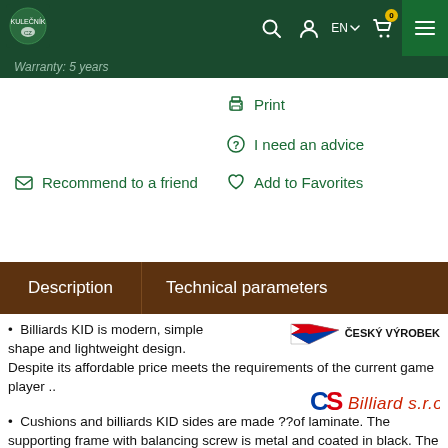Navigation bar with logo, search, user, EN language selector, cart (0), menu
Warranty: 5 years
Print
I need an advice
Recommend to a friend
Add to Favorites
Description | Technical parameters
Billiards KID is modern, simple shape and lightweight design. Despite its affordable price meets the requirements of the current game player ..
Cushions and billiards KID sides are made ??of laminate. The supporting frame with balancing screw is metal and coated in black. The legs are height adjustable, machined and are made ??of solid pine